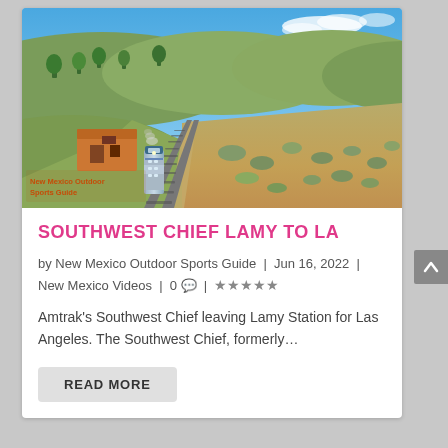[Figure (photo): Aerial/drone view of Amtrak Southwest Chief train traveling through New Mexico desert landscape with tracks, scrubland, and hills in background. Logo overlay reading 'New Mexico Outdoor Sports Guide' in bottom left corner.]
SOUTHWEST CHIEF LAMY TO LA
by New Mexico Outdoor Sports Guide | Jun 16, 2022 | New Mexico Videos | 0 💬 | ★★★★★
Amtrak's Southwest Chief leaving Lamy Station for Las Angeles. The Southwest Chief, formerly…
READ MORE